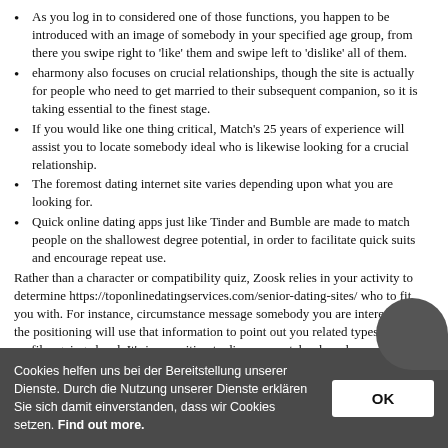As you log in to considered one of those functions, you happen to be introduced with an image of somebody in your specified age group, from there you swipe right to 'like' them and swipe left to 'dislike' all of them.
eharmony also focuses on crucial relationships, though the site is actually for people who need to get married to their subsequent companion, so it is taking essential to the finest stage.
If you would like one thing critical, Match's 25 years of experience will assist you to locate somebody ideal who is likewise looking for a crucial relationship.
The foremost dating internet site varies depending upon what you are looking for.
Quick online dating apps just like Tinder and Bumble are made to match people on the shallowest degree potential, in order to facilitate quick suits and encourage repeat use.
Rather than a character or compatibility quiz, Zoosk relies in your activity to determine https://toponlinedatingservices.com/senior-dating-sites/ who to fit you with. For instance, circumstance message somebody you are interested in, the positioning will use that information to point out you related types of profiles going ahead. It's in a position to discover matches based upon compatibility or use filters to hunt away particular characteristics in people. Tinder boasts it sparks higher than
Cookies helfen uns bei der Bereitstellung unserer Dienste. Durch die Nutzung unserer Dienste erklären Sie sich damit einverstanden, dass wir Cookies setzen. Find out more.